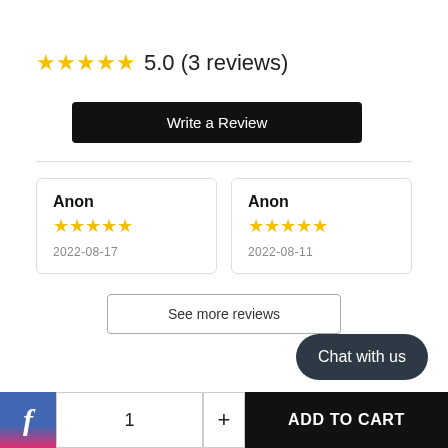★★★★★ 5.0 (3 reviews)
Write a Review
Anon
★★★★★
2022-08-17
Anon
★★★★★
2022-08-11
See more reviews
Chat with us
f  1  +  ADD TO CART